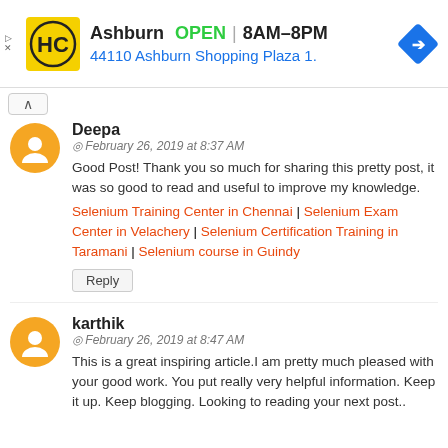[Figure (screenshot): Advertisement banner for HC Ashburn store showing logo, OPEN status, hours 8AM-8PM, address 44110 Ashburn Shopping Plaza 1., and navigation arrow icon]
Deepa
February 26, 2019 at 8:37 AM
Good Post! Thank you so much for sharing this pretty post, it was so good to read and useful to improve my knowledge.
Selenium Training Center in Chennai | Selenium Exam Center in Velachery | Selenium Certification Training in Taramani | Selenium course in Guindy
Reply
karthik
February 26, 2019 at 8:47 AM
This is a great inspiring article.I am pretty much pleased with your good work. You put really very helpful information. Keep it up. Keep blogging. Looking to reading your next post..